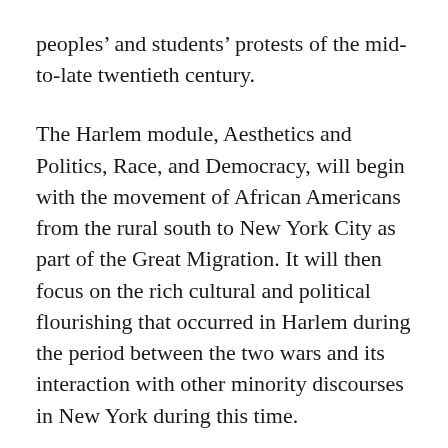peoples' and students' protests of the mid-to-late twentieth century.
The Harlem module, Aesthetics and Politics, Race, and Democracy, will begin with the movement of African Americans from the rural south to New York City as part of the Great Migration. It will then focus on the rich cultural and political flourishing that occurred in Harlem during the period between the two wars and its interaction with other minority discourses in New York during this time.
The Hum 110 faculty will host an open forum Wednesday, April 18, from 4:15 to 5:30 p.m. in the Gray Campus Center. Community members are invited to ask faculty questions about the new